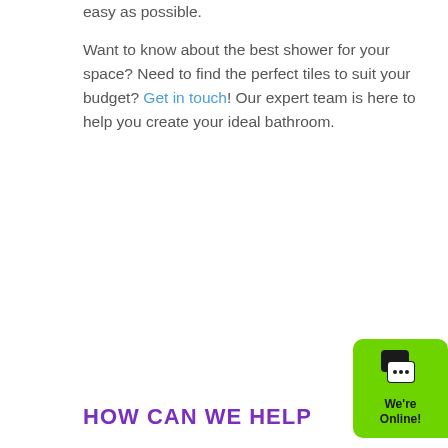easy as possible.

Want to know about the best shower for your space? Need to find the perfect tiles to suit your budget? Get in touch! Our expert team is here to help you create your ideal bathroom.
HOW CAN WE HELP
[Figure (other): Green chat widget in bottom-right corner with chat bubble icon and text 'We're Online!']